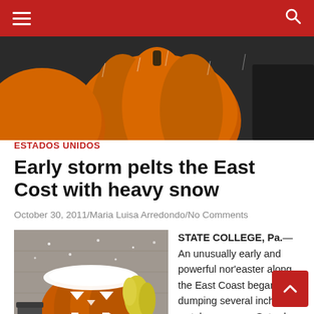Navigation bar with hamburger menu and search icon
[Figure (photo): Hero image showing orange pumpkins from above with red/dark background]
ESTADOS UNIDOS
Early storm pelts the East Cost with heavy snow
October 30, 2011/Maria Luisa Arredondo/No Comments
[Figure (photo): Snow-covered jack-o-lantern pumpkin with yellow flowers in background, snowing]
Communities inland in mid-Atlantic states were getting hit hardest.
STATE COLLEGE, Pa.— An unusually early and powerful nor'easter along the East Coast began dumping several inches of wet, heavy snow Saturday that weighed down or toppled leafy trees and power lines and combined with high winds to knock